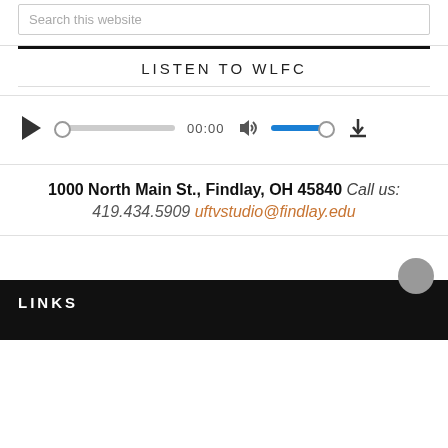Search this website
LISTEN TO WLFC
[Figure (other): Audio player widget with play button, progress bar showing 00:00, volume control with blue track, and download button]
1000 North Main St., Findlay, OH 45840 Call us: 419.434.5909 uftvstudio@findlay.edu
LINKS